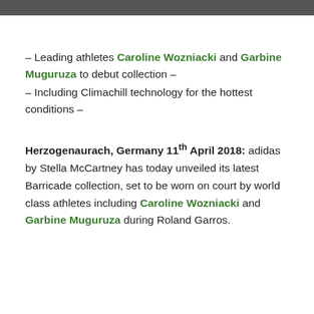– Leading athletes Caroline Wozniacki and Garbine Muguruza to debut collection –
– Including Climachill technology for the hottest conditions –
Herzogenaurach, Germany 11th April 2018: adidas by Stella McCartney has today unveiled its latest Barricade collection, set to be worn on court by world class athletes including Caroline Wozniacki and Garbine Muguruza during Roland Garros.